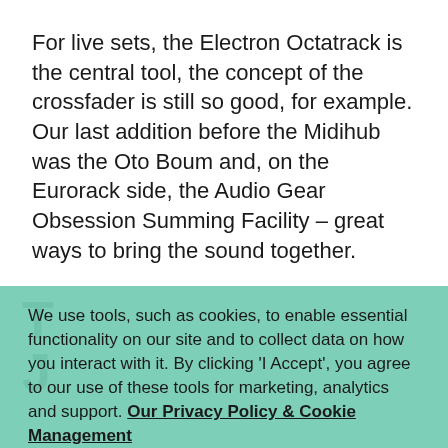For live sets, the Electron Octatrack is the central tool, the concept of the crossfader is still so good, for example. Our last addition before the Midihub was the Oto Boum and, on the Eurorack side, the Audio Gear Obsession Summing Facility – great ways to bring the sound together.
We use tools, such as cookies, to enable essential functionality on our site and to collect data on how you interact with it. By clicking 'I Accept', you agree to our use of these tools for marketing, analytics and support. Our Privacy Policy & Cookie Management
I Accept